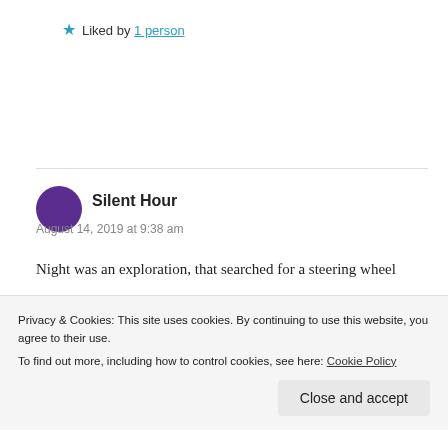★ Liked by 1 person
Silent Hour
August 14, 2019 at 9:38 am
Night was an exploration, that searched for a steering wheel
One of my favorite things about your writing is the way
Privacy & Cookies: This site uses cookies. By continuing to use this website, you agree to their use. To find out more, including how to control cookies, see here: Cookie Policy
Close and accept